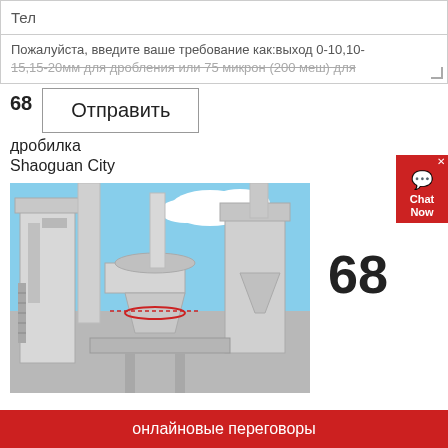Тел
Пожалуйста, введите ваше требование как:выход 0-10,10-15,15-20мм для дробления или 75 микрон (200 меш) для
68
Отправить
дробилка
Shaoguan City
[Figure (photo): Industrial grinding/crushing machine facility with large white equipment, silos, conveyor systems and blue sky background]
68
дробилка Shaoguan City
онлайновые переговоры